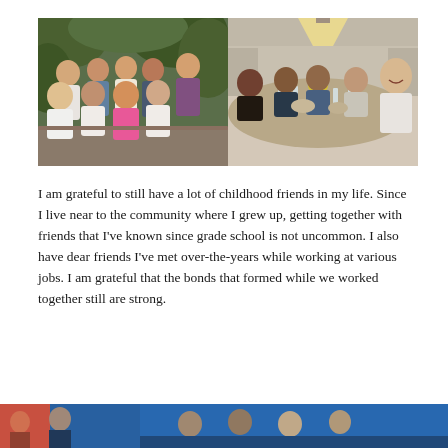[Figure (photo): Two side-by-side photos: left shows a group of women posing together outdoors near plants/greenery; right shows a group of women sitting around a dinner table with glasses and dishes.]
I am grateful to still have a lot of childhood friends in my life. Since I live near to the community where I grew up, getting together with friends that I've known since grade school is not uncommon. I also have dear friends I've met over-the-years while working at various jobs. I am grateful that the bonds that formed while we worked together still are strong.
[Figure (photo): Bottom strip: partially visible photos at the bottom of the page — left portion shows a warm-toned image, right portion shows a blue-toned image.]